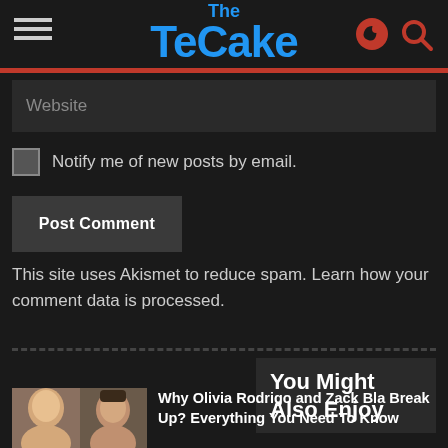The TeCake
Website
Notify me of new posts by email.
Post Comment
This site uses Akismet to reduce spam. Learn how your comment data is processed.
You Might Also Enjoy
[Figure (photo): Two faces side by side - a woman and a man]
Why Olivia Rodrigo and Zack Bla Break Up? Everything You Need To Know